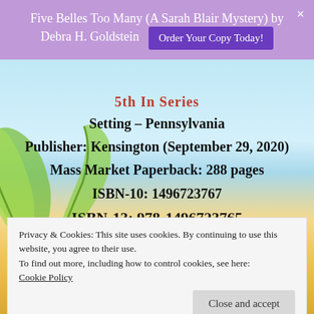Five Belles Too Many (A Sarah Blair Mystery) by Debra H. Goldstein
Order Your Copy Today!
5th In Series
Setting – Pennsylvania
Publisher: Kensington (September 29, 2020)
Mass Market Paperback: 288 pages
ISBN-10: 1496723767
ISBN-13: 978-1496723765
Privacy & Cookies: This site uses cookies. By continuing to use this website, you agree to their use.
To find out more, including how to control cookies, see here:
Cookie Policy
Close and accept